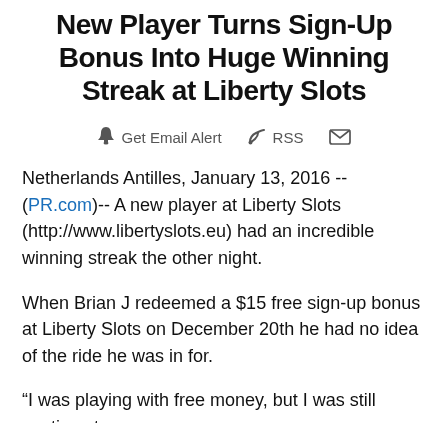New Player Turns Sign-Up Bonus Into Huge Winning Streak at Liberty Slots
Get Email Alert   RSS   [mail icon]
Netherlands Antilles, January 13, 2016 --(PR.com)-- A new player at Liberty Slots (http://www.libertyslots.eu) had an incredible winning streak the other night.
When Brian J redeemed a $15 free sign-up bonus at Liberty Slots on December 20th he had no idea of the ride he was in for.
“I was playing with free money, but I was still cautious to